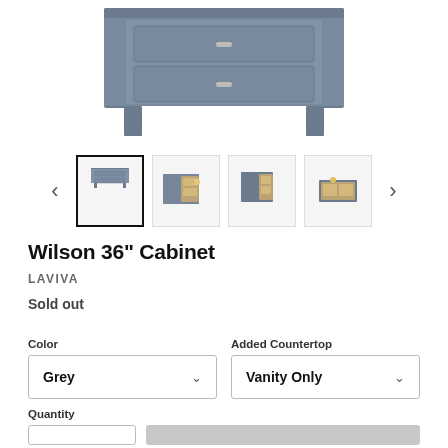[Figure (photo): Grey bathroom vanity cabinet (Wilson 36 inch) shown from the front, with two drawers visible, in a grey finish.]
[Figure (photo): Thumbnail carousel with four small images of the Wilson 36 inch Cabinet from various angles, with left and right navigation arrows. First thumbnail is selected (black border).]
Wilson 36" Cabinet
LAVIVA
Sold out
Color
Grey
Added Countertop
Vanity Only
Quantity